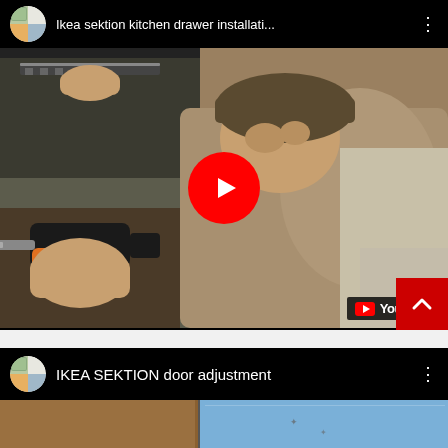[Figure (screenshot): YouTube video thumbnail for 'Ikea sektion kitchen drawer installati...' showing a person using a power drill to install drawer slides. A large red play button is centered. YouTube logo is in bottom right corner. A red scroll-up button overlaps the bottom right.]
[Figure (screenshot): YouTube video thumbnail for 'IKEA SEKTION door adjustment' showing a partially visible room interior with a blue wall and brown cabinet. The top bar shows the channel icon and video title on a dark background.]